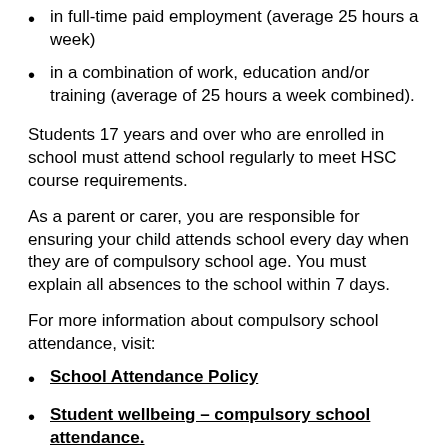in full-time paid employment (average 25 hours a week)
in a combination of work, education and/or training (average of 25 hours a week combined).
Students 17 years and over who are enrolled in school must attend school regularly to meet HSC course requirements.
As a parent or carer, you are responsible for ensuring your child attends school every day when they are of compulsory school age. You must explain all absences to the school within 7 days.
For more information about compulsory school attendance, visit:
School Attendance Policy
Student wellbeing – compulsory school attendance.